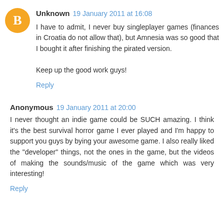[Figure (illustration): Orange circular blogger avatar icon with white letter B]
Unknown 19 January 2011 at 16:08
I have to admit, I never buy singleplayer games (finances in Croatia do not allow that), but Amnesia was so good that I bought it after finishing the pirated version.

Keep up the good work guys!
Reply
Anonymous 19 January 2011 at 20:00
I never thought an indie game could be SUCH amazing. I think it's the best survival horror game I ever played and I'm happy to support you guys by bying your awesome game. I also really liked the "developer" things, not the ones in the game, but the videos of making the sounds/music of the game which was very interesting!
Reply